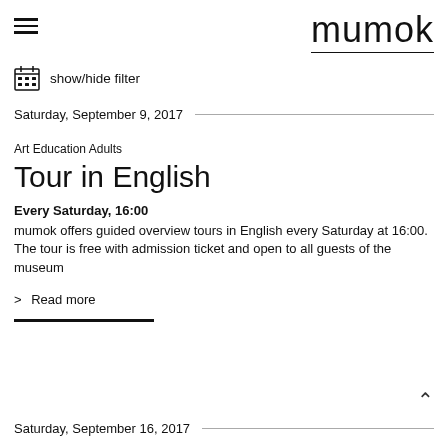mumok
show/hide filter
Saturday, September 9, 2017
Art Education Adults
Tour in English
Every Saturday, 16:00
mumok offers guided overview tours in English every Saturday at 16:00. The tour is free with admission ticket and open to all guests of the museum
> Read more
Saturday, September 16, 2017